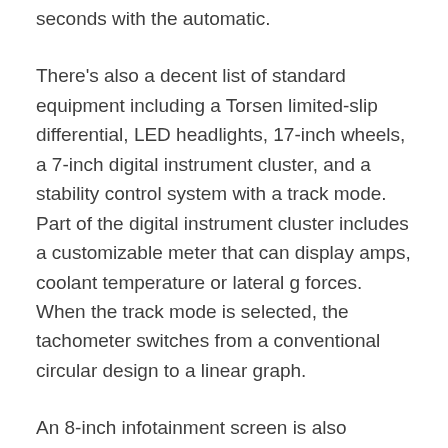seconds with the automatic.
There's also a decent list of standard equipment including a Torsen limited-slip differential, LED headlights, 17-inch wheels, a 7-inch digital instrument cluster, and a stability control system with a track mode. Part of the digital instrument cluster includes a customizable meter that can display amps, coolant temperature or lateral g forces. When the track mode is selected, the tachometer switches from a conventional circular design to a linear graph.
An 8-inch infotainment screen is also standard. The infotainment system includes Apple CarPlay and Android Auto smartphone integration, as well as a rear-view camera.
The 2023 BRZ goes on sale this summer. Pricing information for the...